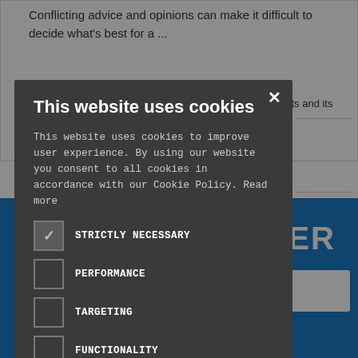Conflicting advice and opinions can make it difficult to decide what's best for a ...
ants and its
[Figure (screenshot): Cookie consent modal dialog on a dark overlay background. The modal has a title 'This website uses cookies', body text explaining cookie usage, five checkbox options (STRICTLY NECESSARY checked, PERFORMANCE, TARGETING, FUNCTIONALITY, UNCLASSIFIED unchecked), an ACCEPT ALL green button, a DECLINE ALL outlined button, and a SHOW DETAILS link with a gear icon.]